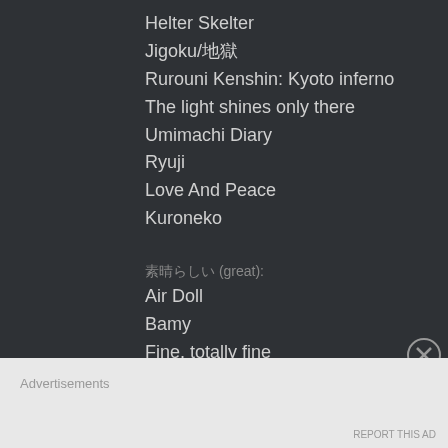Helter Skelter
Jigoku/地獄
Rurouni Kenshin: Kyoto inferno
The light shines only there
Umimachi Diary
Ryuji
Love And Peace
Kuroneko
素晴らしい (great):
Air Doll
Bamy
Fine, totally fine
Forma
HK Hentai Kamen
Advertisements